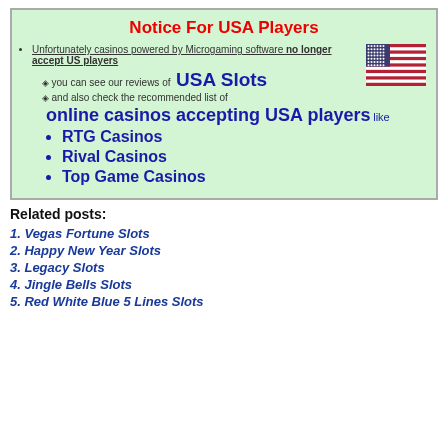Notice For USA Players
Unfortunately casinos powered by Microgaming software no longer accept US players
you can see our reviews of USA Slots
and also check the recommended list of online casinos accepting USA players like
RTG Casinos
Rival Casinos
Top Game Casinos
Related posts:
1. Vegas Fortune Slots
2. Happy New Year Slots
3. Legacy Slots
4. Jingle Bells Slots
5. Red White Blue 5 Lines Slots